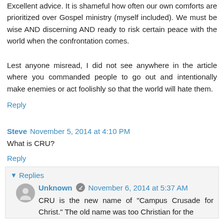Excellent advice. It is shameful how often our own comforts are prioritized over Gospel ministry (myself included). We must be wise AND discerning AND ready to risk certain peace with the world when the confrontation comes.
Lest anyone misread, I did not see anywhere in the article where you commanded people to go out and intentionally make enemies or act foolishly so that the world will hate them.
Reply
Steve  November 5, 2014 at 4:10 PM
What is CRU?
Reply
Replies
Unknown  November 6, 2014 at 5:37 AM
CRU is the new name of "Campus Crusade for Christ." The old name was too Christian for the